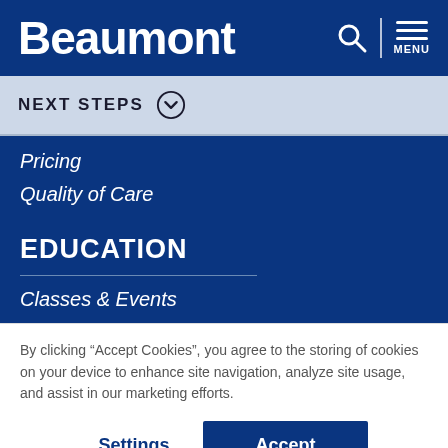Beaumont
NEXT STEPS
Pricing
Quality of Care
EDUCATION
Classes & Events
By clicking “Accept Cookies”, you agree to the storing of cookies on your device to enhance site navigation, analyze site usage, and assist in our marketing efforts.
Settings
Accept